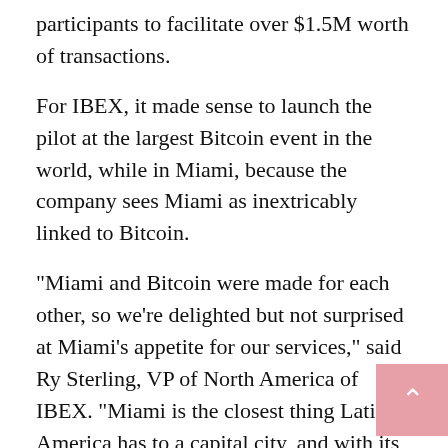participants to facilitate over $1.5M worth of transactions.
For IBEX, it made sense to launch the pilot at the largest Bitcoin event in the world, while in Miami, because the company sees Miami as inextricably linked to Bitcoin.
“Miami and Bitcoin were made for each other, so we’re delighted but not surprised at Miami’s appetite for our services,” said Ry Sterling, VP of North America of IBEX. “Miami is the closest thing Latin America has to a capital city, and with its resident population from Central and South America, there is a huge pool of potential Bitcoin customers.”
“Immigrants, especially those from countries with poor banking infrastructure, are among the